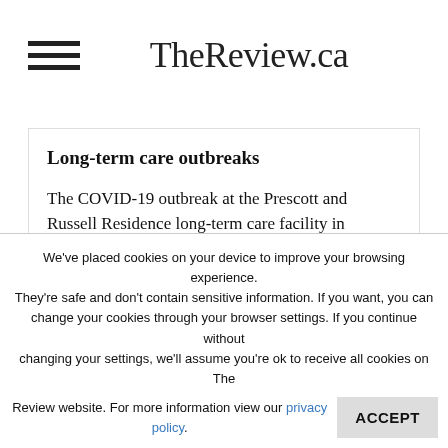TheReview.ca
Long-term care outbreaks
The COVID-19 outbreak at the Prescott and Russell Residence long-term care facility in Hawkesbury remained in effect on November 27. One new case in a resident was reported
We've placed cookies on your device to improve your browsing experience. They're safe and don't contain sensitive information. If you want, you can change your cookies through your browser settings. If you continue without changing your settings, we'll assume you're ok to receive all cookies on The Review website. For more information view our privacy policy.